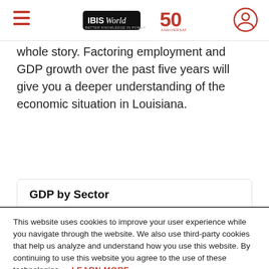IBISWorld 50th Anniversary
whole story. Factoring employment and GDP growth over the past five years will give you a deeper understanding of the economic situation in Louisiana.
GDP by Sector
This website uses cookies to improve your user experience while you navigate through the website. We also use third-party cookies that help us analyze and understand how you use this website. By continuing to use this website you agree to the use of these technologies. LEARN MORE
ACCEPT